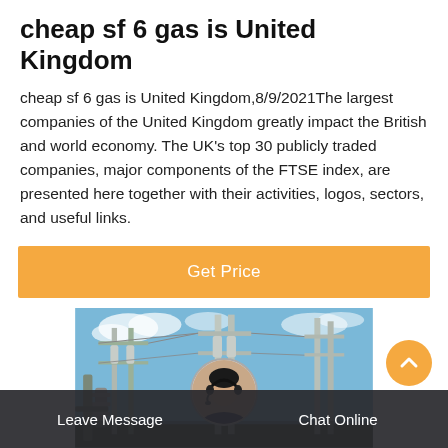cheap sf 6 gas is United Kingdom
cheap sf 6 gas is United Kingdom,8/9/2021The largest companies of the United Kingdom greatly impact the British and world economy. The UK's top 30 publicly traded companies, major components of the FTSE index, are presented here together with their activities, logos, sectors, and useful links.
[Figure (other): Orange 'Get Price' button]
[Figure (photo): Photo of electrical substation with tall pylons/towers and insulators against a blue sky]
Leave Message   Chat Online